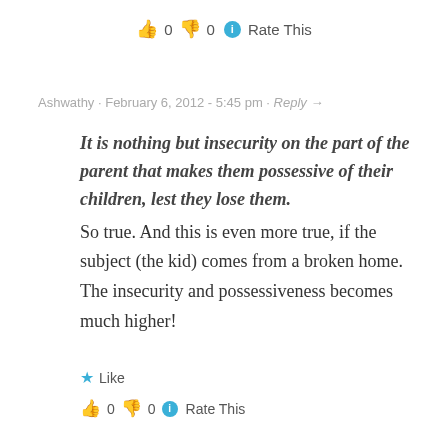👍 0 👎 0 ℹ Rate This
Ashwathy · February 6, 2012 - 5:45 pm · Reply →
It is nothing but insecurity on the part of the parent that makes them possessive of their children, lest they lose them. So true. And this is even more true, if the subject (the kid) comes from a broken home. The insecurity and possessiveness becomes much higher!
★ Like
👍 0 👎 0 ℹ Rate This